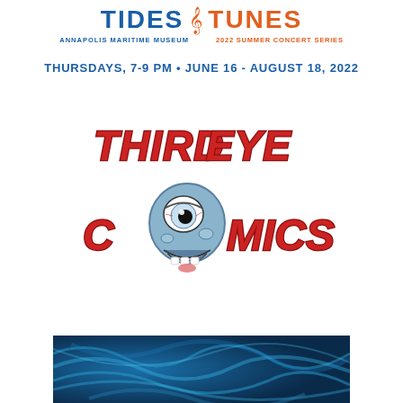[Figure (logo): Tides & Tunes Annapolis Maritime Museum 2022 Summer Concert Series logo with blue TIDES text and orange TUNES text with musical note]
THURSDAYS, 7-9 PM • JUNE 16 - AUGUST 18, 2022
[Figure (logo): Third Eye Comics logo featuring red comic-style lettering with a blue cartoon eyeball character with one large eye and teeth]
[Figure (photo): Blue swirling water/smoke texture background at bottom of page]